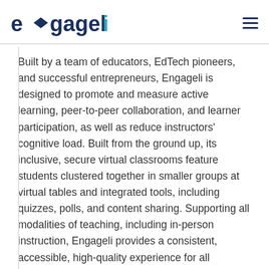engageli
Built by a team of educators, EdTech pioneers, and successful entrepreneurs, Engageli is designed to promote and measure active learning, peer-to-peer collaboration, and learner participation, as well as reduce instructors’ cognitive load. Built from the ground up, its inclusive, secure virtual classrooms feature students clustered together in smaller groups at virtual tables and integrated tools, including quizzes, polls, and content sharing. Supporting all modalities of teaching, including in-person instruction, Engageli provides a consistent, accessible, high-quality experience for all students.
“As institutions around the world reimagine learning for their students